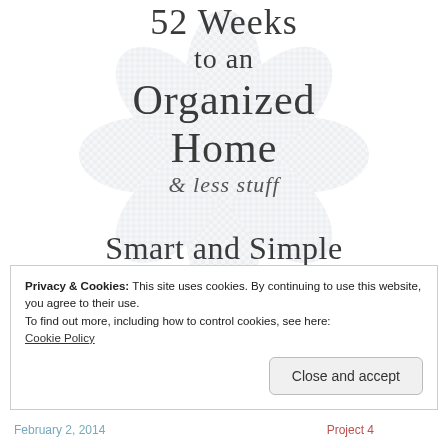52 Weeks to an Organized Home & less stuff
Smart and Simple with www.GoGingham.com
Privacy & Cookies: This site uses cookies. By continuing to use this website, you agree to their use.
To find out more, including how to control cookies, see here:
Cookie Policy
Close and accept
February 2, 2014    Project 4